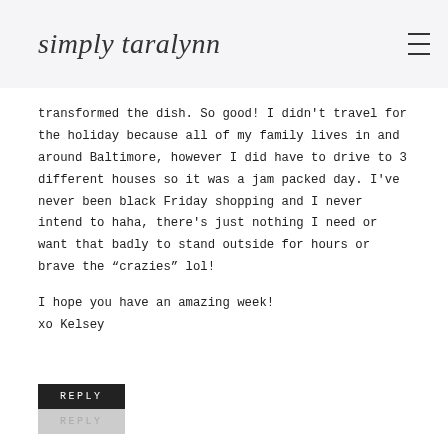simply taralynn
transformed the dish. So good! I didn't travel for the holiday because all of my family lives in and around Baltimore, however I did have to drive to 3 different houses so it was a jam packed day. I've never been black Friday shopping and I never intend to haha, there's just nothing I need or want that badly to stand outside for hours or brave the “crazies” lol!
I hope you have an amazing week!
xo Kelsey
REPLY